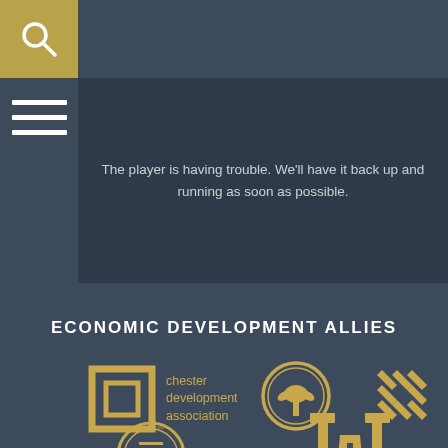Search icon and navigation menu
[Figure (screenshot): Video player error message: The player is having trouble. We'll have it back up and running as soon as possible.]
ECONOMIC DEVELOPMENT ALLIES
[Figure (logo): Chester Development Association logo with square bracket icon]
[Figure (logo): South Carolina palmetto tree circular logo]
[Figure (logo): Woven cross/weave pattern logo]
[Figure (logo): Chester County South Carolina official seal]
[Figure (logo): Road/highway infrastructure logo with T-shape road icon]